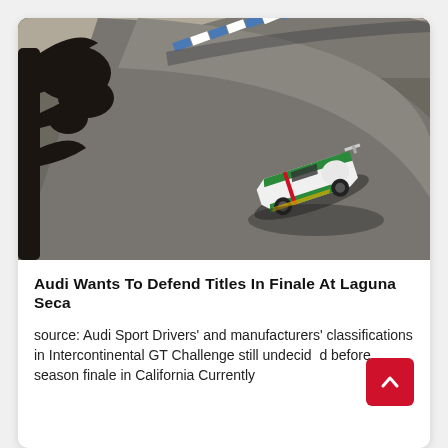[Figure (photo): Aerial/overhead photo of a green and white Audi GT racing car going around a banked curve at Laguna Seca racetrack, with a tree silhouette visible on the left and blue/white curbing on the track edge.]
Audi Wants To Defend Titles In Finale At Laguna Seca
source: Audi Sport Drivers' and manufacturers' classifications in Intercontinental GT Challenge still undecided before season finale in California Currently